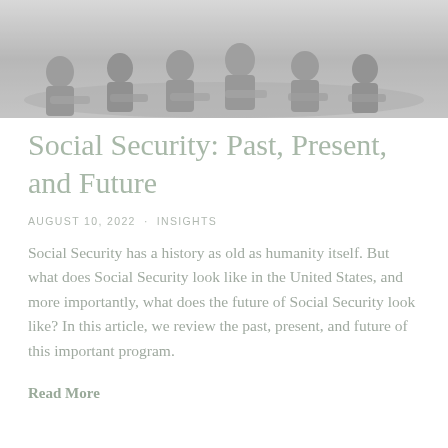[Figure (photo): Black and white photograph of people sitting around a table, appearing to be in a meeting or discussion setting]
Social Security: Past, Present, and Future
AUGUST 10, 2022 · INSIGHTS
Social Security has a history as old as humanity itself. But what does Social Security look like in the United States, and more importantly, what does the future of Social Security look like? In this article, we review the past, present, and future of this important program.
Read More